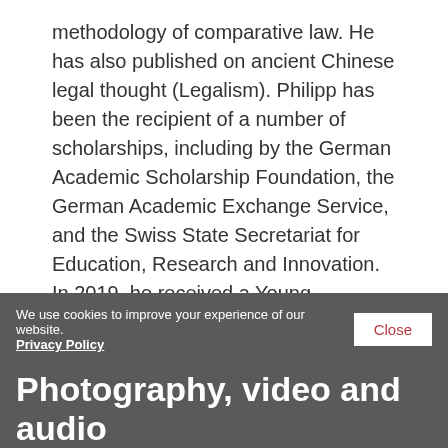methodology of comparative law. He has also published on ancient Chinese legal thought (Legalism). Philipp has been the recipient of a number of scholarships, including by the German Academic Scholarship Foundation, the German Academic Exchange Service, and the Swiss State Secretariat for Education, Research and Innovation. In 2019, he received a Young Researchers' Award from the German National Committee of Comparative Law.
Contact
For more information on this event, please email lawevents@qmul.ac.uk.
We use cookies to improve your experience of our website. Privacy Policy  Close
Photography, video and audio